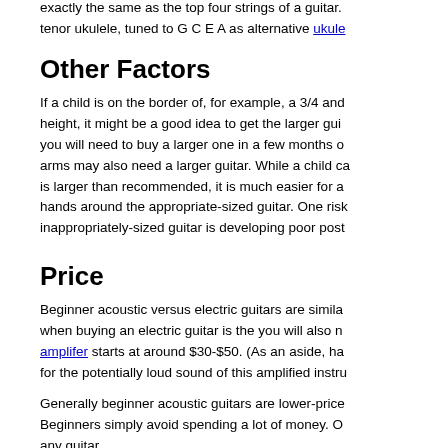exactly the same as the top four strings of a guitar. tenor ukulele, tuned to G C E A as alternative ukule
Other Factors
If a child is on the border of, for example, a 3/4 and height, it might be a good idea to get the larger gui you will need to buy a larger one in a few months o arms may also need a larger guitar. While a child c is larger than recommended, it is much easier for a hands around the appropriate-sized guitar. One risk inappropriately-sized guitar is developing poor post
Price
Beginner acoustic versus electric guitars are simila when buying an electric guitar is the you will also n amplifier starts at around $30-$50. (As an aside, ha for the potentially loud sound of this amplified instru
Generally beginner acoustic guitars are lower-price Beginners simply avoid spending a lot of money. O any guitar.